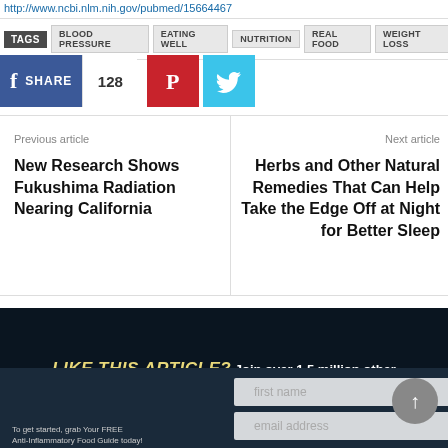http://www.ncbi.nlm.nih.gov/pubmed/15664467
TAGS  BLOOD PRESSURE  EATING WELL  NUTRITION  REAL FOOD  WEIGHT LOSS
[Figure (screenshot): Social share buttons: Facebook SHARE 128, Pinterest, Twitter]
Previous article
New Research Shows Fukushima Radiation Nearing California
Next article
Herbs and Other Natural Remedies That Can Help Take the Edge Off at Night for Better Sleep
[Figure (infographic): LIKE THIS ARTICLE? Join over 1.5 million other wellness free-thinkers taking back their health! Email signup banner with first name and email address fields, anti-inflammatory food guide book promo]